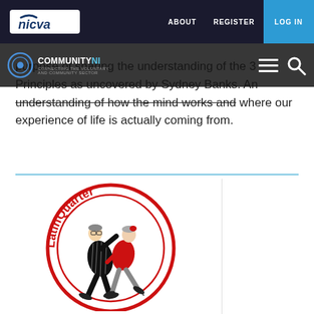nicva | ABOUT | REGISTER | LOG IN
COMMUNITY NI
purpose of sharing the understanding of the 3 Principles as uncovered by Sydney Banks. An understanding of how the mind works and where our experience of life is actually coming from.
[Figure (logo): LatinQuarter logo: circular red ring with the text 'LatinQuarter' arranged around the circle, with cartoon elderly couple dancing tango in the center — man in black pinstripe suit, woman in red dress]